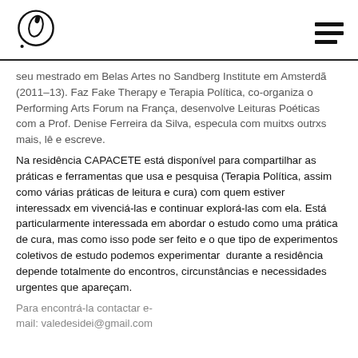[Logo and navigation menu]
seu mestrado em Belas Artes no Sandberg Institute em Amsterdã (2011–13). Faz Fake Therapy e Terapia Política, co-organiza o Performing Arts Forum na França, desenvolve Leituras Poéticas com a Prof. Denise Ferreira da Silva, especula com muitxs outrxs mais, lê e escreve.
Na residência CAPACETE está disponível para compartilhar as práticas e ferramentas que usa e pesquisa (Terapia Política, assim como várias práticas de leitura e cura) com quem estiver interessadx em vivenciá-las e continuar explorá-las com ela. Está particularmente interessada em abordar o estudo como uma prática de cura, mas como isso pode ser feito e o que tipo de experimentos coletivos de estudo podemos experimentar  durante a residência depende totalmente do encontros, circunstâncias e necessidades urgentes que apareçam.
Para encontrá-la contactar e-mail: valedesidei@gmail.com